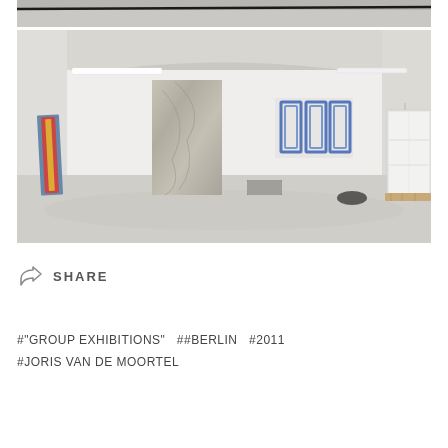[Figure (photo): Partial top strip of gallery interior showing ceiling with dark cable]
[Figure (photo): Gallery interior showing white walls, concrete floor, large stone/marble slab sculpture in center, colorful artwork on left wall leaning, blue geometric painting on back wall, white cabinet on right, wire sculpture on right side, fluorescent ceiling lights]
↪ SHARE
#"GROUP EXHIBITIONS"  ##BERLIN  #2011
#JORIS VAN DE MOORTEL